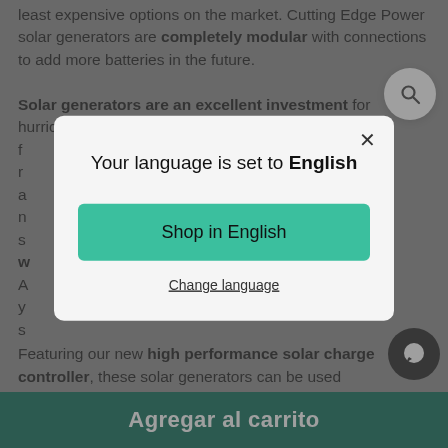least expensive options on the market. Cutting Edge Power solar generators are completely modular with connections to add more batteries in the future.
Solar generators are an excellent investment for hurricane / natural disaster preparation, backup power f... r... a... n... s... w... A... y... s...
[Figure (screenshot): Modal dialog box overlay on a webpage. The modal shows 'Your language is set to English' with a teal 'Shop in English' button and a 'Change language' text link. A close (X) button is in the top right of the modal.]
Featuring our new high performance solar charge controller, these solar generators can be used...
Agregar al carrito